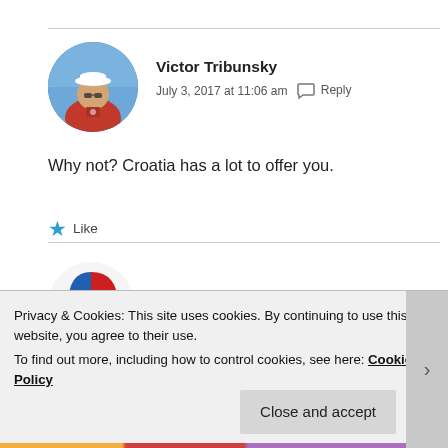[Figure (photo): Circular avatar photo of Victor Tribunsky, a man in a white captain's hat and red polo shirt against a blue sky background]
Victor Tribunsky
July 3, 2017 at 11:06 am  Reply
Why not? Croatia has a lot to offer you.
Like
[Figure (logo): Circular avatar/logo for Dina, partially visible, red and blue design]
Dina
Privacy & Cookies: This site uses cookies. By continuing to use this website, you agree to their use.
To find out more, including how to control cookies, see here: Cookie Policy
Close and accept